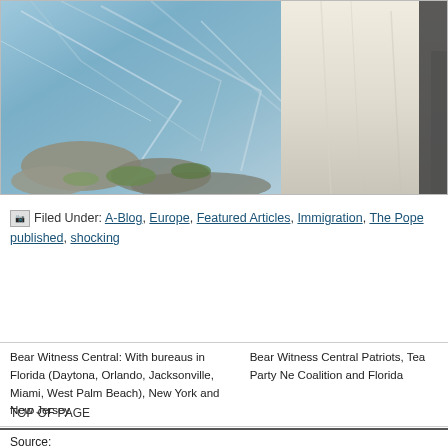[Figure (photo): Outdoor mountain landscape photo with rocky terrain, glacial or icy blue-gray background, green moss/shrubs, and a person in white clothing visible on the right side.]
Filed Under: A-Blog, Europe, Featured Articles, Immigration, The Pope published, shocking
Bear Witness Central: With bureaus in Florida (Daytona, Orlando, Jacksonville, Miami, West Palm Beach), New York and New Jersey.
Bear Witness Central Patriots, Tea Party Ne Coalition and Florida
TOP OF PAGE
Source: